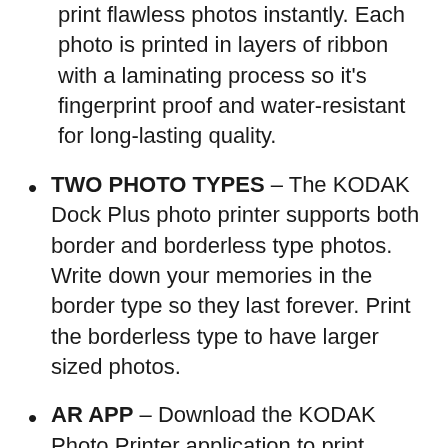print flawless photos instantly. Each photo is printed in layers of ribbon with a laminating process so it’s fingerprint proof and water-resistant for long-lasting quality.
TWO PHOTO TYPES – The KODAK Dock Plus photo printer supports both border and borderless type photos. Write down your memories in the border type so they last forever. Print the borderless type to have larger sized photos.
AR APP – Download the KODAK Photo Printer application to print anywhere and anytime. You can use the fun augmented reality features and other decorative functions like beauty,